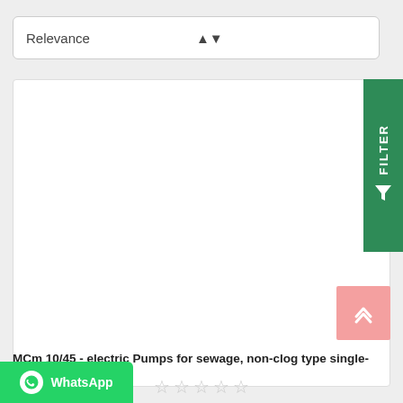Relevance
[Figure (screenshot): Product image placeholder (white area) inside a product card]
FILTER
MCm 10/45 - electric Pumps for sewage, non-clog type single-phase
★★★★★ (empty stars rating)
WhatsApp